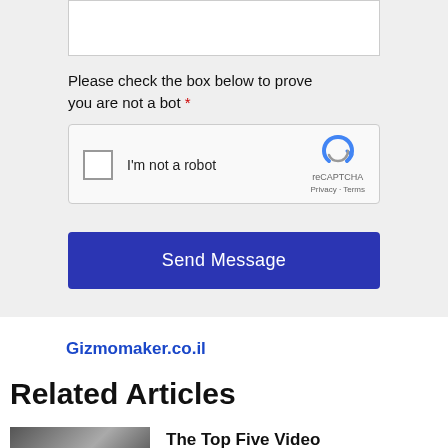[Figure (screenshot): Textarea input box at the top of a web contact form]
Please check the box below to prove you are not a bot *
[Figure (screenshot): reCAPTCHA widget with checkbox labeled I'm not a robot, reCAPTCHA logo, Privacy and Terms links]
[Figure (screenshot): Send Message button, dark blue color]
Gizmomaker.co.il
Related Articles
The Top Five Video